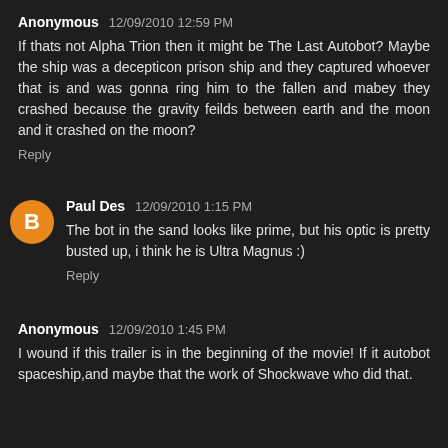Anonymous 12/09/2010 12:59 PM
If thats not Alpha Trion then it might be The Last Autobot? Maybe the ship was a decepticon prison ship and they captured whoever that is and was gonna ring him to the fallen and mabey they crashed because the gravity feilds between earth and the moon and it crashed on the moon?
Reply
Paul Des 12/09/2010 1:15 PM
The bot in the sand looks like prime, but his optic is pretty busted up, i think he is Ultra Magnus :)
Reply
Anonymous 12/09/2010 1:45 PM
I wound if this trailer is in the beginning of the movie! If it autobot spaceship,and maybe that the work of Shockwave who did that.